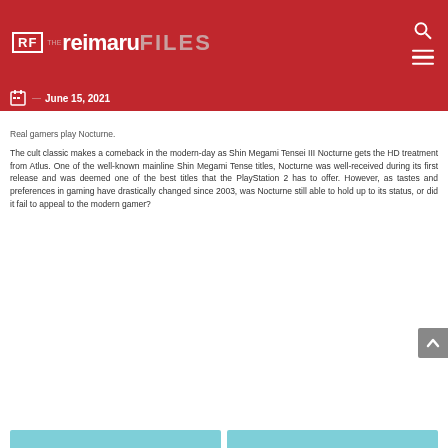The Reimaru Files
June 15, 2021
Real gamers play Nocturne.
The cult classic makes a comeback in the modern-day as Shin Megami Tensei III Nocturne gets the HD treatment from Atlus. One of the well-known mainline Shin Megami Tense titles, Nocturne was well-received during its first release and was deemed one of the best titles that the PlayStation 2 has to offer. However, as tastes and preferences in gaming have drastically changed since 2003, was Nocturne still able to hold up to its status, or did it fail to appeal to the modern gamer?
[Figure (photo): Bottom strip showing teal/blue patterned images]